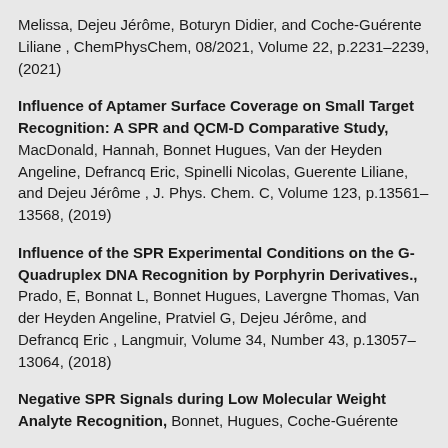Melissa, Dejeu Jérôme, Boturyn Didier, and Coche-Guérente Liliane , ChemPhysChem, 08/2021, Volume 22, p.2231–2239, (2021)
Influence of Aptamer Surface Coverage on Small Target Recognition: A SPR and QCM-D Comparative Study, MacDonald, Hannah, Bonnet Hugues, Van der Heyden Angeline, Defrancq Eric, Spinelli Nicolas, Guerente Liliane, and Dejeu Jérôme , J. Phys. Chem. C, Volume 123, p.13561–13568, (2019)
Influence of the SPR Experimental Conditions on the G-Quadruplex DNA Recognition by Porphyrin Derivatives., Prado, E, Bonnat L, Bonnet Hugues, Lavergne Thomas, Van der Heyden Angeline, Pratviel G, Dejeu Jérôme, and Defrancq Eric , Langmuir, Volume 34, Number 43, p.13057–13064, (2018)
Negative SPR Signals during Low Molecular Weight Analyte Recognition, Bonnet, Hugues, Coche-Guérente